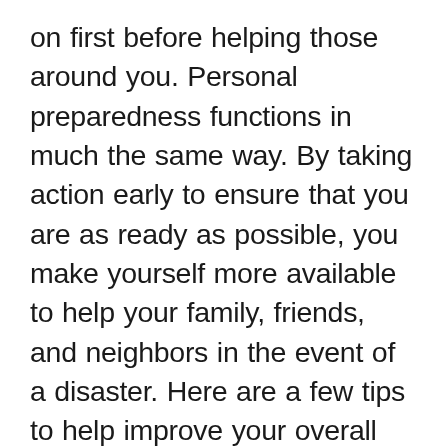on first before helping those around you. Personal preparedness functions in much the same way. By taking action early to ensure that you are as ready as possible, you make yourself more available to help your family, friends, and neighbors in the event of a disaster. Here are a few tips to help improve your overall readiness, particularly during hurricane season: Know your needs Do you have dietary restrictions? Are you on a daily medication? Do you struggle to function without that morning cup of coffee? All of these are things you can plan for in